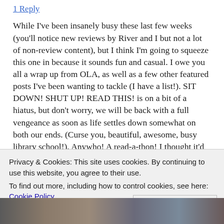1 Reply
While I've been insanely busy these last few weeks (you'll notice new reviews by River and I but not a lot of non-review content), but I think I'm going to squeeze this one in because it sounds fun and casual. I owe you all a wrap up from OLA, as well as a few other featured posts I've been wanting to tackle (I have a list!). SIT DOWN! SHUT UP! READ THIS! is on a bit of a hiatus, but don't worry, we will be back with a full vengeance as soon as life settles down somewhat on both our ends. (Curse you, beautiful, awesome, busy library school!). Anywho! A read-a-thon! I thought it'd be fun to tackle another one of these and it just so happens on is occuring
Privacy & Cookies: This site uses cookies. By continuing to use this website, you agree to their use.
To find out more, including how to control cookies, see here: Cookie Policy
Close and accept
[Figure (photo): Bottom portion of a photo, appears to show book covers or similar colourful images]